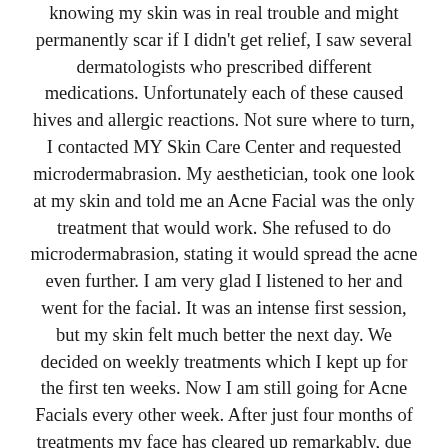knowing my skin was in real trouble and might permanently scar if I didn't get relief, I saw several dermatologists who prescribed different medications. Unfortunately each of these caused hives and allergic reactions. Not sure where to turn, I contacted MY Skin Care Center and requested microdermabrasion. My aesthetician, took one look at my skin and told me an Acne Facial was the only treatment that would work. She refused to do microdermabrasion, stating it would spread the acne even further. I am very glad I listened to her and went for the facial. It was an intense first session, but my skin felt much better the next day. We decided on weekly treatments which I kept up for the first ten weeks. Now I am still going for Acne Facials every other week. After just four months of treatments my face has cleared up remarkably, due in no small part to the amount of time and attention my aesthetician takes to help my face look perfect. She makes sure I get the maximum benefit from each treatment. I now